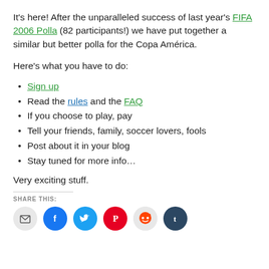It's here! After the unparalleled success of last year's FIFA 2006 Polla (82 participants!) we have put together a similar but better polla for the Copa América.
Here's what you have to do:
Sign up
Read the rules and the FAQ
If you choose to play, pay
Tell your friends, family, soccer lovers, fools
Post about it in your blog
Stay tuned for more info...
Very exciting stuff.
SHARE THIS: